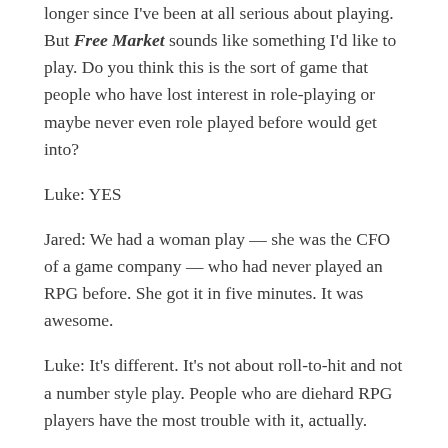longer since I've been at all serious about playing. But Free Market sounds like something I'd like to play. Do you think this is the sort of game that people who have lost interest in role-playing or maybe never even role played before would get into?
Luke: YES
Jared: We had a woman play — she was the CFO of a game company — who had never played an RPG before. She got it in five minutes. It was awesome.
Luke: It's different. It's not about roll-to-hit and not a number style play. People who are diehard RPG players have the most trouble with it, actually.
Was that your intention? To create a game for non-gamers?